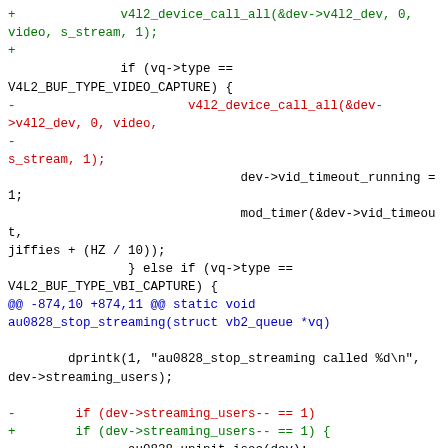Code diff showing v4l2 device streaming changes in au0828 driver